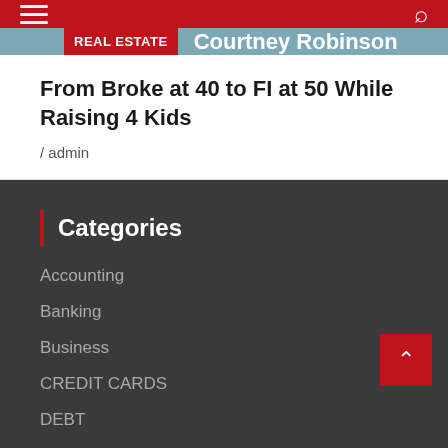Navigation bar with hamburger menu and search icon
[Figure (screenshot): Article header banner with REAL ESTATE tag and author name Courtney Robinson on steel blue background]
From Broke at 40 to FI at 50 While Raising 4 Kids
/ admin
Categories
Accounting
Banking
Business
CREDIT CARDS
DEBT